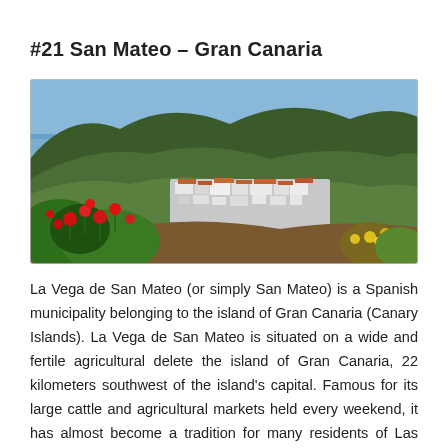#21 San Mateo – Gran Canaria
[Figure (photo): Aerial/elevated view of San Mateo village on Gran Canaria showing white buildings nestled in green terraced hillsides with red poppies in the foreground and blue ocean in the background]
La Vega de San Mateo (or simply San Mateo) is a Spanish municipality belonging to the island of Gran Canaria (Canary Islands). La Vega de San Mateo is situated on a wide and fertile agricultural delete the island of Gran Canaria, 22 kilometers southwest of the island's capital. Famous for its large cattle and agricultural markets held every weekend, it has almost become a tradition for many residents of Las Palmas to do their weekly purchases of fresh fruits